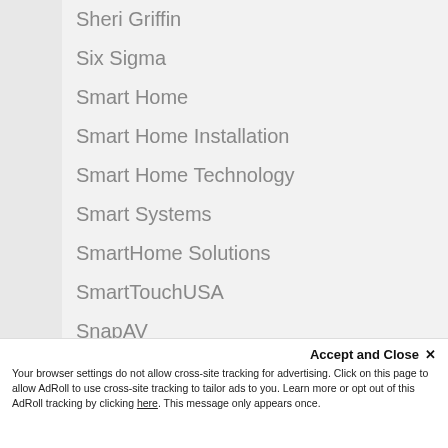Sheri Griffin
Six Sigma
Smart Home
Smart Home Installation
Smart Home Technology
Smart Systems
SmartHome Solutions
SmartTouchUSA
SnapAV_
Social Media
Social Media Marketing World
Software Monitoring Platform
Solar Energy
Solar Industry
Sonance
Accept and Close ✕ Your browser settings do not allow cross-site tracking for advertising. Click on this page to allow AdRoll to use cross-site tracking to tailor ads to you. Learn more or opt out of this AdRoll tracking by clicking here. This message only appears once.